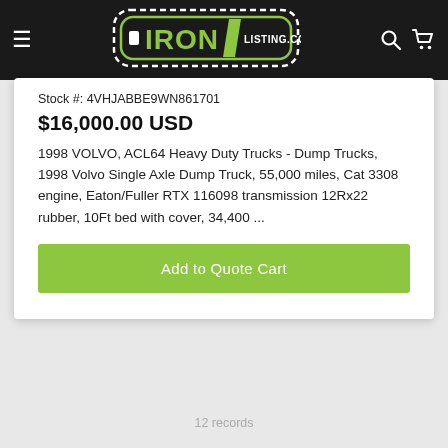[Figure (logo): IronListing.com logo with green text on black background, inside a rounded rectangle with dashed border]
Stock #: 4VHJABBE9WN861701
$16,000.00 USD
1998 VOLVO, ACL64 Heavy Duty Trucks - Dump Trucks, 1998 Volvo Single Axle Dump Truck, 55,000 miles, Cat 3308 engine, Eaton/Fuller RTX 116098 transmission 12Rx22 rubber, 10Ft bed with cover, 34,400 ...
Add to Quote Cart
12 records